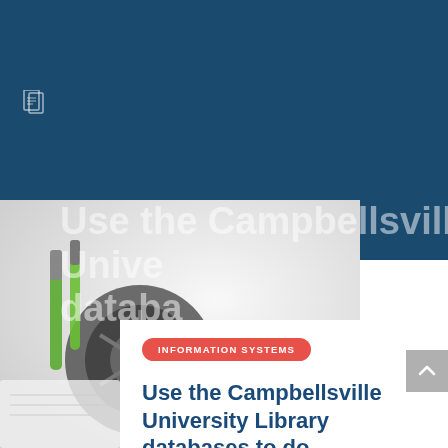[Figure (photo): Dark blue header background with a document/clipboard icon in the upper left]
[Figure (photo): Photo of fishing reel with green-handled tools and other items on a light gray background, partially overlapping the blue header and the white content card]
Use the Campbellsville University Library databases to do
INFORMATION SYSTEMS
Use the Campbellsville University Library databases to do